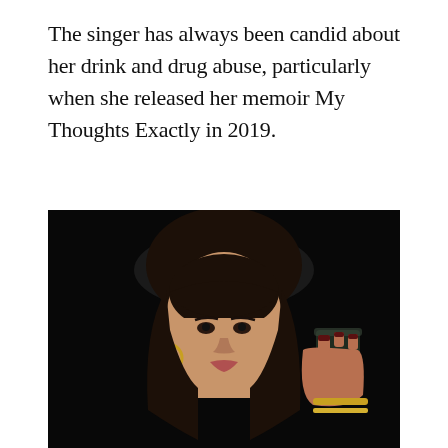The singer has always been candid about her drink and drug abuse, particularly when she released her memoir My Thoughts Exactly in 2019.
[Figure (photo): A woman with dark hair and bangs holding a shot glass of amber liquid, wearing hoop earrings, photographed against a dark background.]